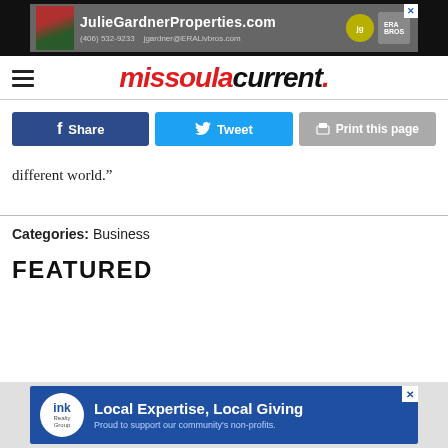[Figure (other): JulieGardnerProperties.com advertisement banner with photo of a woman, jg logo, phone number (406) 532-9233, email jgardner@ERALivbros.com]
missoulacurrent.
[Figure (other): Social sharing buttons: Share (Facebook, dark blue), Tweet (Twitter, light blue), Print this page (gray)]
different world.”
Categories: Business
FEATURED
[Figure (other): ink Realty Group advertisement: Local Expertise, Local Giving. Proud to support our community's non-profits.]